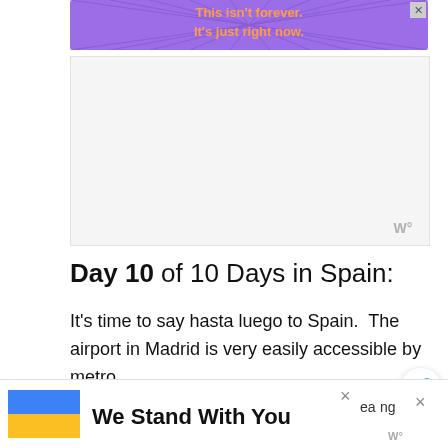[Figure (other): Purple advertisement banner with orange bold text reading 'This isn't forever. It's just right now.' with a close button (X) in the top right corner and radiating line pattern behind the text.]
[Figure (other): Large light gray advertisement placeholder box with a small weather widget watermark icon (W°) in the bottom right corner.]
Day 10 of 10 Days in Spain:
It's time to say hasta luego to Spain.  The airport in Madrid is very easily accessible by metro.
BTW: If you are doing your Spain trip in
[Figure (other): Bottom sticky banner with Ukrainian flag (blue and yellow) on the left and bold text 'We Stand With You'. Has a close X button and partially obscured text on the right with a weather widget icon (W°).]